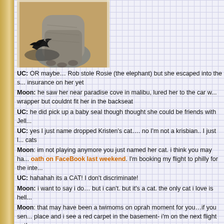[Figure (photo): Photo of an elephant's foot/leg area with a dark bird (crow) shadow or silhouette on sandy ground]
UC: OR maybe… Rob stole Rosie (the elephant) but she escaped into the s... insurance on her yet
Moon: he saw her near paradise cove in malibu, lured her to the car w... wrapper but couldnt fit her in the backseat
UC: he did pick up a baby seal though thought she could be friends with Jell...
UC: yes I just name dropped Kristen's cat…. no I'm not a krisbian.. I just l... cats
Moon: im not playing anymore you just named her cat. i think you may ha... oath on FaceBook last weekend. I'm booking my flight to philly for the inte...
UC: hahahah its a CAT! I don't discriminate!
Moon: i want to say i do… but i can't. but it's a cat. the only cat i love is hell...
Moon: that may have been a twimoms on oprah moment for you…if you sen... place and i see a red carpet in the basement- i'm on the next flight out!
Moon: What is all this talk about Rob's peen on Twitter?
UC: people are INSISTING his penis is showing… some think it's photos... PHONE
Moon: where is this picture
UC: here (to the right)
Moon: ok, im way more into his sunglasses than looking at his maybe-peen
UC: i looked at the one you posted today…. there is clearly something SC... which moved
Moon: IF that's his peen it's detached and floating around in his "R-Pants"